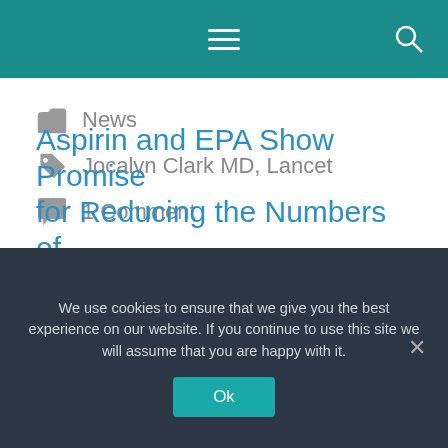Navigation menu with hamburger icon and search icon
News
Jocalyn Clark MD, Lancet
1 Comment
Aspirin and EPA Show Promise for Reducing the Numbers of
We use cookies to ensure that we give you the best experience on our website. If you continue to use this site we will assume that you are happy with it. Ok